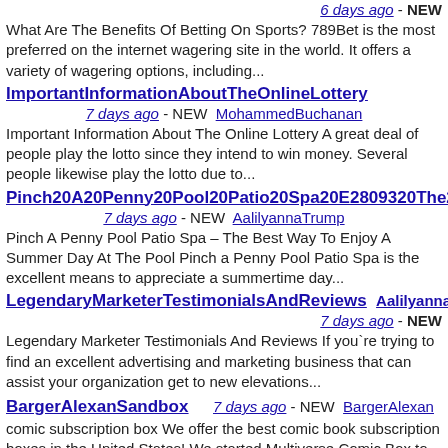6 days ago - NEW
What Are The Benefits Of Betting On Sports? 789Bet is the most preferred on the internet wagering site in the world. It offers a variety of wagering options, including...
ImportantInformationAboutTheOnlineLottery
7 days ago - NEW  MohammedBuchanan
Important Information About The Online Lottery A great deal of people play the lotto since they intend to win money. Several people likewise play the lotto due to...
Pinch20A20Penny20Pool20Patio20Spa20E2809320The20Best20W
7 days ago - NEW  AalilyannaTrump
Pinch A Penny Pool Patio Spa – The Best Way To Enjoy A Summer Day At The Pool Pinch a Penny Pool Patio Spa is the excellent means to appreciate a summertime day...
LegendaryMarketerTestimonialsAndReviews  AalilyannaTrump
7 days ago - NEW
Legendary Marketer Testimonials And Reviews If you're trying to find an excellent advertising and marketing business that can assist your organization get to new elevations...
BargerAlexanSandbox  7 days ago - NEW  BargerAlexan
comic subscription box We offer the best comic book subscription boxes in the United States! We started Multiverse Comic Box to make obtaining CBCS CGC 9.8 graded...
How20Do20You20Get20Free20Spins20On20All20Of20Your20Fa
8 days ago - NEW  AalilyannaTrump
How Do You Get Free Spins On All Of Your Favorite Slot Machines? Title Article text.If you're trying to find a complimentary method to play ports, you have actually...